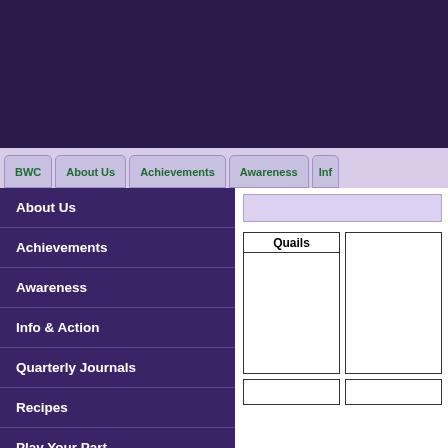[Figure (screenshot): Dark purple header banner area at top of webpage]
BWC | About Us | Achievements | Awareness | Inf...
About Us
Achievements
Awareness
Info & Action
Quarterly Journals
Recipes
Play Your Part
FAQ
Contact Us
[Figure (screenshot): Light purple content bar in right content area]
[Figure (screenshot): Grid of image placeholder boxes. Top-left box labeled 'Quails', top-right box empty, bottom row partially visible]
Quails